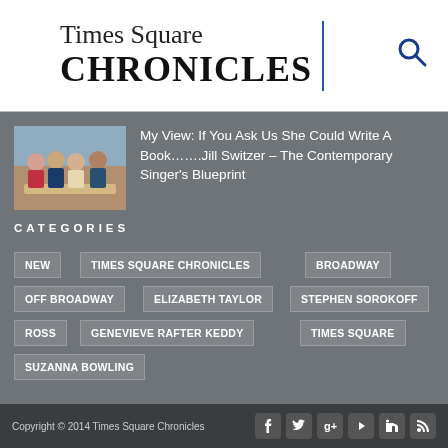Times Square CHRONICLES
[Figure (photo): Thumbnail photo of four people at a dinner table]
My View: If You Ask Us She Could Write A Book…….Jill Switzer – The Contemporary Singer's Blueprint
CATEGORIES
NEW
TIMES SQUARE CHRONICLES
BROADWAY
OFF BROADWAY
ELIZABETH TAYLOR
STEPHEN SOROKOFF
ROSS
GENEVIEVE RAFTER KEDDY
TIMES SQUARE
SUZANNA BOWLING
Copyright © 2014 Times Square Chronicles